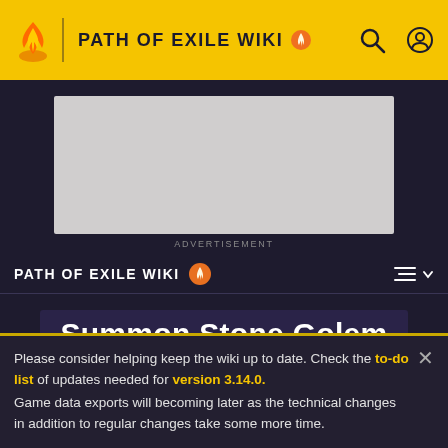PATH OF EXILE WIKI
[Figure (screenshot): Advertisement placeholder box]
ADVERTISEMENT
PATH OF EXILE WIKI
Summon Stone Golem
Please consider helping keep the wiki up to date. Check the to-do list of updates needed for version 3.14.0. Game data exports will becoming later as the technical changes in addition to regular changes take some more time.